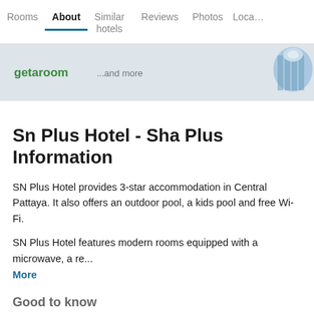Rooms  About  Similar hotels  Reviews  Photos  Loca…
[Figure (illustration): Ad banner showing getaroom logo with '...and more' text and luggage illustration on right side]
Sn Plus Hotel - Sha Plus Information
SN Plus Hotel provides 3-star accommodation in Central Pattaya. It also offers an outdoor pool, a kids pool and free Wi-Fi.
SN Plus Hotel features modern rooms equipped with a microwave, a re...
More
Good to know